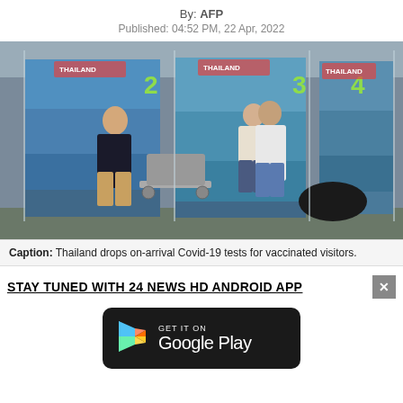By: AFP
Published: 04:52 PM, 22 Apr, 2022
[Figure (photo): Travelers with luggage carts standing in front of numbered Thailand tourism banners (2, 3, 4) at an airport arrival area]
Caption: Thailand drops on-arrival Covid-19 tests for vaccinated visitors.
STAY TUNED WITH 24 NEWS HD ANDROID APP
[Figure (logo): Google Play store download badge with play icon triangle and text GET IT ON Google Play on black rounded rectangle background]